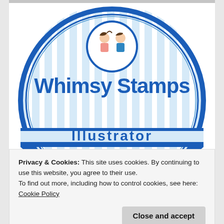[Figure (logo): Whimsy Stamps logo: circular blue badge with light blue vertical stripes background, two cartoon children (girl and boy) in a scalloped circle at top, large blue text 'Whimsy Stamps' in the center, and partial text 'Illustrator' at the bottom, with decorative blue border elements.]
Privacy & Cookies: This site uses cookies. By continuing to use this website, you agree to their use.
To find out more, including how to control cookies, see here: Cookie Policy
Close and accept